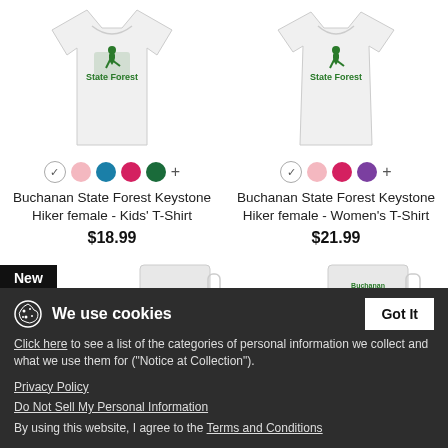[Figure (photo): White kids' t-shirt with green Keystone Hiker female State Forest logo]
[Figure (photo): White women's t-shirt with green Keystone Hiker female State Forest logo]
Buchanan State Forest Keystone Hiker female - Kids' T-Shirt
$18.99
Buchanan State Forest Keystone Hiker female - Women's T-Shirt
$21.99
New
We use cookies
Click here to see a list of the categories of personal information we collect and what we use them for ("Notice at Collection").
Privacy Policy
Do Not Sell My Personal Information
By using this website, I agree to the Terms and Conditions